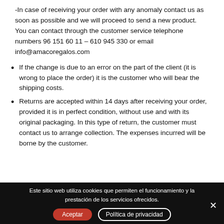-In case of receiving your order with any anomaly contact us as soon as possible and we will proceed to send a new product. You can contact through the customer service telephone numbers 96 151 60 11 – 610 945 330 or email info@amacoregalos.com
If the change is due to an error on the part of the client (it is wrong to place the order) it is the customer who will bear the shipping costs.
Returns are accepted within 14 days after receiving your order, provided it is in perfect condition, without use and with its original packaging. In this type of return, the customer must contact us to arrange collection. The expenses incurred will be borne by the customer.
Este sitio web utiliza cookies que permiten el funcionamiento y la prestación de los servicios ofrecidos.